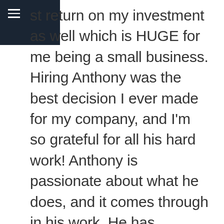st return on my investment as well which is HUGE for me being a small business. Hiring Anthony was the best decision I ever made for my company, and I'm so grateful for all his hard work! Anthony is passionate about what he does, and it comes through in his work. He has become like a friend to me, and I continue to work with him on building our online business for